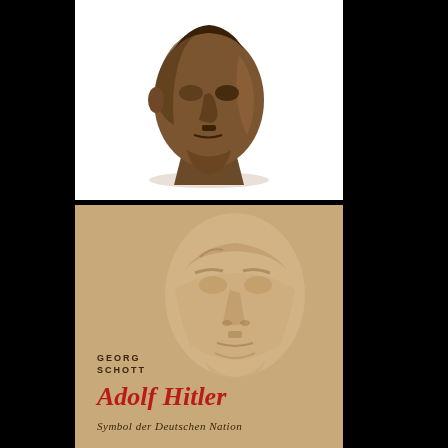[Figure (photo): Bronze bust sculpture of a man's head with dark patina, viewed from slightly below, showing facial features including a small mustache, on a white background]
[Figure (photo): Book cover with tan/beige background featuring an embossed or relief portrait face. Text reads 'GEORG SCHOTT' in upper left, 'Adolf Hitler' in large red Gothic/Fraktur script, and 'Symbol der Deutschen Nation' in brown italic text below]